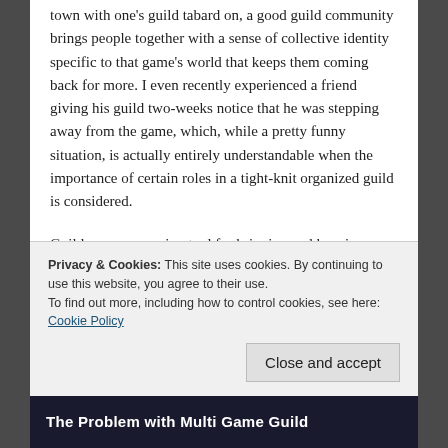town with one's guild tabard on, a good guild community brings people together with a sense of collective identity specific to that game's world that keeps them coming back for more. I even recently experienced a friend giving his guild two-weeks notice that he was stepping away from the game, which, while a pretty funny situation, is actually entirely understandable when the importance of certain roles in a tight-knit organized guild is considered.
Guilds are an amazing tool for bringing and keeping players together, but when the guild plays more than one game, this can become a double-edged sword. The bond between
Privacy & Cookies: This site uses cookies. By continuing to use this website, you agree to their use.
To find out more, including how to control cookies, see here: Cookie Policy
Close and accept
The Problem with Multi Game Guild